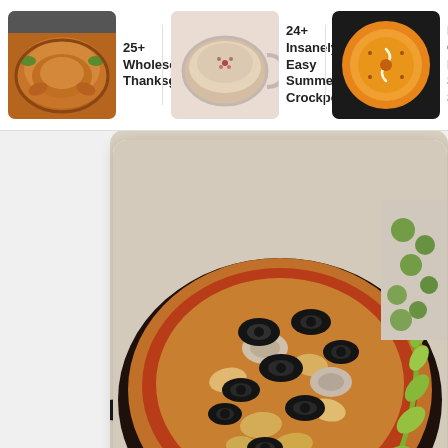[Figure (screenshot): App screenshot showing recipe suggestions in a horizontal top bar: '25+ Wholesome Thanksgivin...', '24+ Insanely Easy Summer Crockpot...', 'Easy Croc... Butternut Squash So...' with thumbnail images]
25+ Wholesome Thanksgivin...
24+ Insanely Easy Summer Crockpot...
Easy Croc... Butternut Squash So...
[Figure (photo): Close-up photo of a slow cooker dish with Italian white beans, black olives, mushrooms, and a sprig of celery on a dark pan]
Slow Cooker Italian White Beans with ...
Slender Kitchen
These vegan crockpot Italian White Beans cook...
76